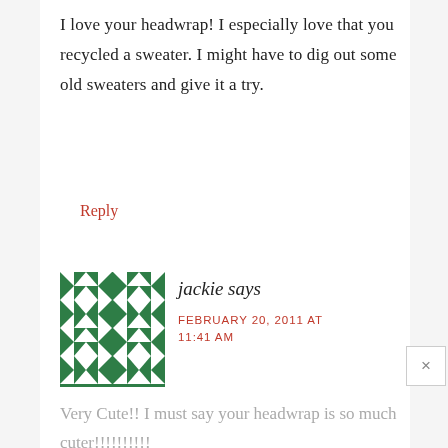I love your headwrap! I especially love that you recycled a sweater. I might have to dig out some old sweaters and give it a try.
Reply
[Figure (illustration): Green and white geometric quilt-pattern avatar/icon for user 'jackie']
jackie says
FEBRUARY 20, 2011 AT 11:41 AM
Very Cute!! I must say your headwrap is so much cuter!!!!!!!!!!